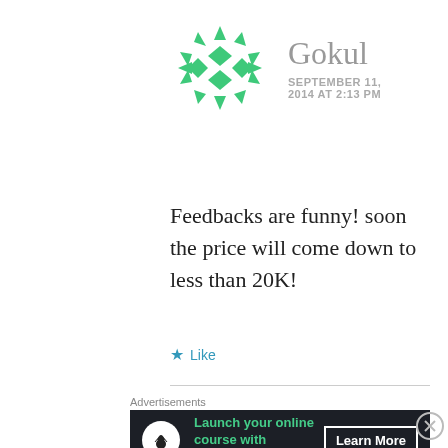[Figure (illustration): Green snowflake/geometric avatar icon made of triangular shapes]
Gokul
SEPTEMBER 11, 2014 AT 2:13 PM
Feedbacks are funny! soon the price will come down to less than 20K!
★ Like
Advertisements
[Figure (infographic): Dark banner ad: bonsai tree icon, 'Launch your online course with WordPress', Learn More button]
Advertisements
[Figure (infographic): Light beige banner ad: 'Professionally designed sites in less than a week' with WordPress logo]